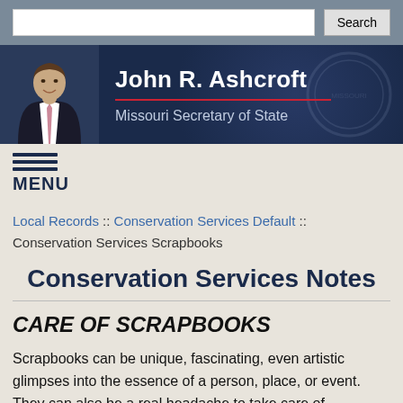Search bar with input and Search button
[Figure (photo): Header banner with photo of John R. Ashcroft and text 'John R. Ashcroft, Missouri Secretary of State' on dark navy background]
MENU
Local Records :: Conservation Services Default :: Conservation Services Scrapbooks
Conservation Services Notes
CARE OF SCRAPBOOKS
Scrapbooks can be unique, fascinating, even artistic glimpses into the essence of a person, place, or event. They can also be a real headache to take care of.